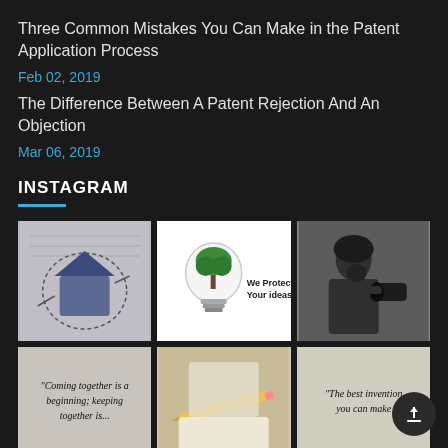Three Common Mistakes You Can Make in the Patent Application Process
Feb 02, 2019
The Difference Between A Patent Rejection And An Objection
Mar 06, 2019
INSTAGRAM
[Figure (photo): Sketch on notebook with a blue crumpled house model]
[Figure (illustration): Light bulb with green tree and text We Protect Your ideas]
[Figure (photo): Black and white historical photo of a man speaking into an early telephone device]
[Figure (photo): Quote image: Coming together is a beginning; keeping together is...]
[Figure (photo): Photo of a pencil and paper on desk]
[Figure (photo): Quote image: The best invention you can make]